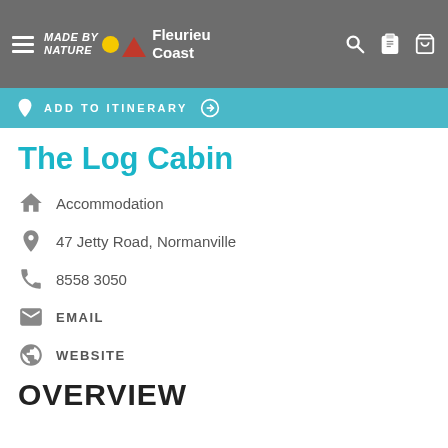Made By Nature Fleurieu Coast
ADD TO ITINERARY
The Log Cabin
Accommodation
47 Jetty Road, Normanville
8558 3050
EMAIL
WEBSITE
OVERVIEW